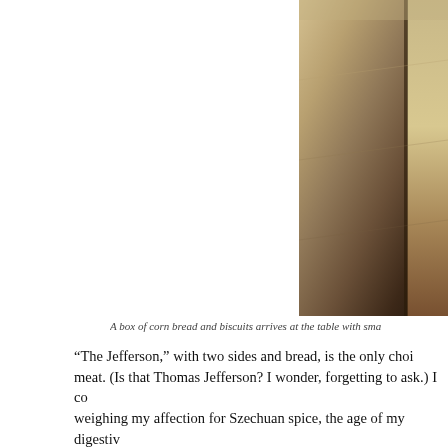[Figure (photo): Close-up photo of corn bread, partially cut, dark crust visible on the right side]
A box of corn bread and biscuits arrives at the table with sma
“The Jefferson,” with two sides and bread, is the only choi meat. (Is that Thomas Jefferson? I wonder, forgetting to ask.) I co weighing my affection for Szechuan spice, the age of my digestiv of sleep, I switch to “Hootie Hoot” hot, number 4 out of 6 on the
[Figure (photo): Plate of fried chicken pieces with pickle slices on top, served on white paper]